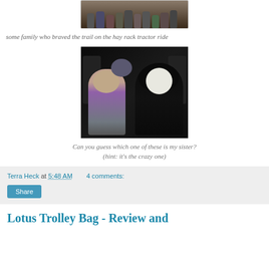[Figure (photo): Top portion of a photo showing a group of people (family) on a hay rack tractor ride, partially cropped at top]
some family who braved the trail on the hay rack tractor ride
[Figure (photo): A woman in a pink/grey hoodie standing next to someone in a black witch/scary Halloween costume with black curly wig and white face makeup, dark background]
Can you guess which one of these is my sister? (hint: it's the crazy one)
Terra Heck at 5:48 AM   4 comments:
Share
Lotus Trolley Bag - Review and